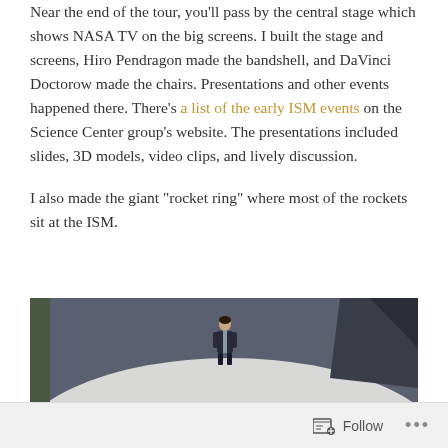Near the end of the tour, you'll pass by the central stage which shows NASA TV on the big screens. I built the stage and screens, Hiro Pendragon made the bandshell, and DaVinci Doctorow made the chairs. Presentations and other events happened there. There's a list of the early ISM events on the Science Center group's website. The presentations included slides, 3D models, video clips, and lively discussion.
I also made the giant “rocket ring” where most of the rockets sit at the ISM.
[Figure (photo): Screenshot of a virtual world scene showing a large white curved surface or dome structure with an avatar (person in a dark suit) standing on it, and large dark angular shapes in the background.]
Follow ...